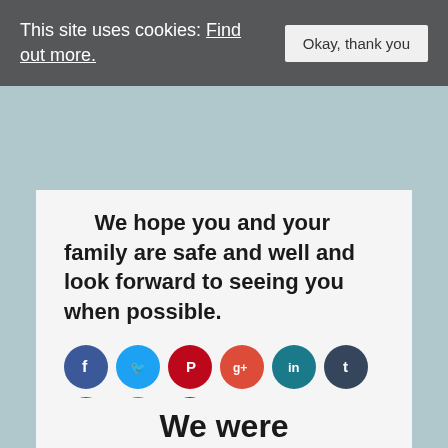This site uses cookies: Find out more.
Okay, thank you
We hope you and your family are safe and well and look forward to seeing you when possible.
[Figure (infographic): Row of social media icon circles: Facebook (dark blue), Twitter (light blue), Pinterest (red), Google+ (red-orange), LinkedIn (teal), Tumblr (dark teal), Digg (dark blue-gray), StumbleUpon (orange), Delicious (dark blue). Second row: VK (blue).]
We were